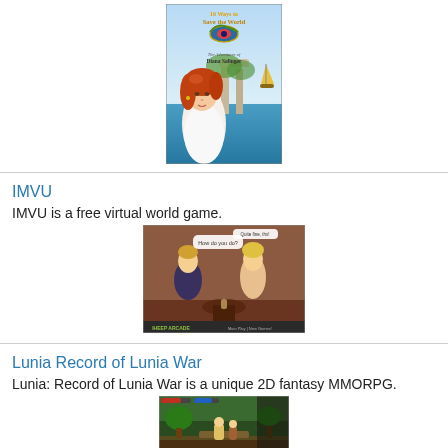[Figure (photo): Book cover image: '10 Ways to Save the World - The Adventures of Diana Salinger', featuring a young woman with red hair, ancient ruins and sea background]
IMVU
IMVU is a free virtual world game.
[Figure (screenshot): IMVU virtual world game screenshot showing two 3D avatars in a room with speech bubbles, with 'IHEEP ARCADE' branding at the bottom]
Lunia Record of Lunia War
Lunia: Record of Lunia War is a unique 2D fantasy MMORPG.
[Figure (screenshot): Lunia: Record of Lunia War game screenshot showing a 2D fantasy game scene]